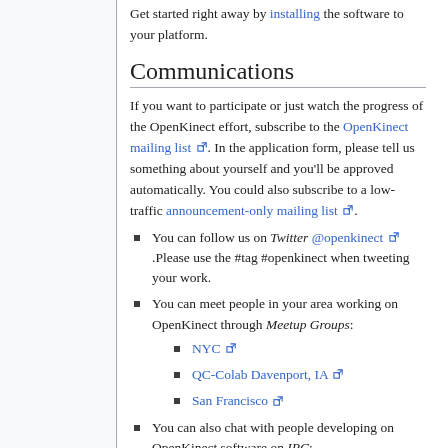Get started right away by installing the software to your platform.
Communications
If you want to participate or just watch the progress of the OpenKinect effort, subscribe to the OpenKinect mailing list. In the application form, please tell us something about yourself and you'll be approved automatically. You could also subscribe to a low-traffic announcement-only mailing list.
You can follow us on Twitter @openkinect. Please use the #tag #openkinect when tweeting your work.
You can meet people in your area working on OpenKinect through Meetup Groups: NYC, QC-Colab Davenport, IA, San Francisco
You can also chat with people developing on OpenKinect software on IRC: